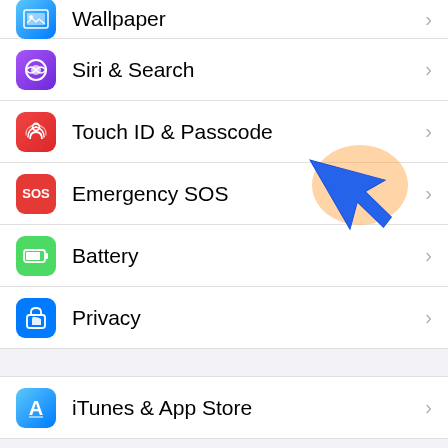[Figure (screenshot): iOS Settings screen showing menu items: Wallpaper (partial, top), Siri & Search, Touch ID & Passcode (with blue arrow pointing to it), Emergency SOS, Battery, Privacy, gray separator, iTunes & App Store, gray separator, Passwords & Accounts, Mail, and partial bottom item. Each row has an app icon, label, and chevron.]